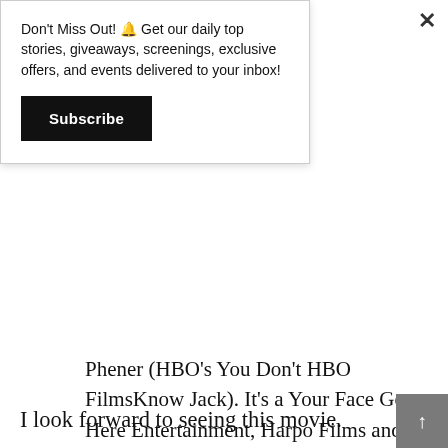Don't Miss Out! 🔔 Get our daily top stories, giveaways, screenings, exclusive offers, and events delivered to your inbox!
Subscribe
Phener (HBO's You Don't HBO FilmsKnow Jack). It's a Your Face Goes Here Entertainment, Harpo Films and Cine Mosaic production. Skloot serves as co-executive producer, while Henrietta Lacks' sons David Lacks Jr. and Zakariyya Rahman and granddaughter Jeri Lacks are consultants.
I look forward to seeing this movie.